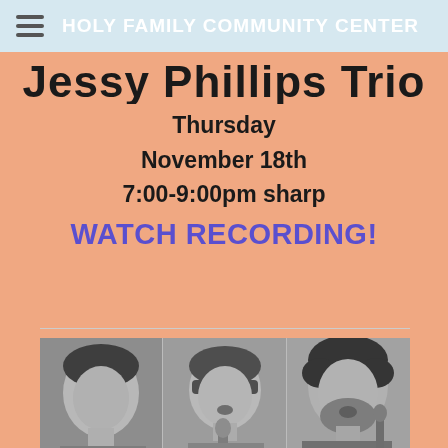HOLY FAMILY COMMUNITY CENTER
Jessy Phillips Trio
Thursday
November 18th
7:00-9:00pm sharp
WATCH RECORDING!
[Figure (photo): Black and white photo strip showing three musicians: a man on the left looking down, a woman in the center singing into a microphone, and a bearded man on the right singing]